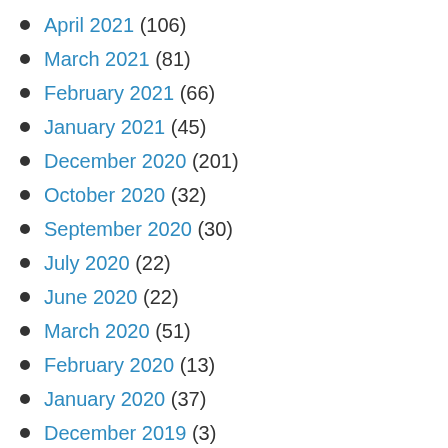April 2021 (106)
March 2021 (81)
February 2021 (66)
January 2021 (45)
December 2020 (201)
October 2020 (32)
September 2020 (30)
July 2020 (22)
June 2020 (22)
March 2020 (51)
February 2020 (13)
January 2020 (37)
December 2019 (3)
November 2019 (2)
October 2019 (7)
September 2019 (31)